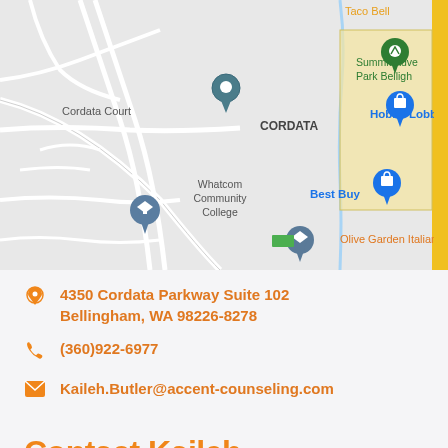[Figure (map): Google Maps view showing Cordata neighborhood in Bellingham, WA. Map labels include: Cordata Court, CORDATA, Hobby Lobby, Summit Adventure Park Bellingham, Taco Bell, Whatcom Community College, Best Buy, Olive Garden Italian. Various map pins (location markers, shopping bag icons) are visible.]
4350 Cordata Parkway Suite 102
Bellingham, WA 98226-8278
(360)922-6977
Kaileh.Butler@accent-counseling.com
Contact Kaileh
Name *